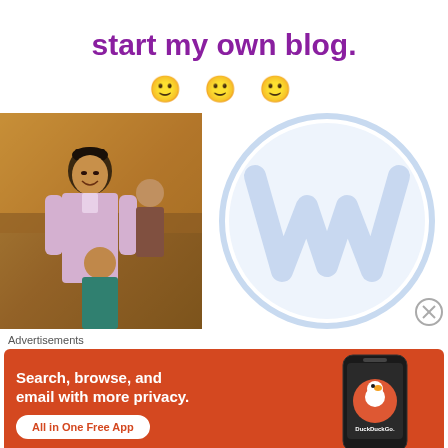start my own blog.
🙂 🙂 🙂
[Figure (photo): A man in traditional Malay attire (baju melayu) and black songkok hat smiling, with a young girl in green and a background crowd in an indoor setting.]
[Figure (logo): WordPress logo — large light blue W inside a circle outline, watermark style.]
[Figure (other): Close button (circle with X) in bottom right area.]
Advertisements
[Figure (screenshot): DuckDuckGo advertisement banner: orange/red background with white text 'Search, browse, and email with more privacy.' and 'All in One Free App' button, alongside a smartphone showing the DuckDuckGo app icon and brand name.]